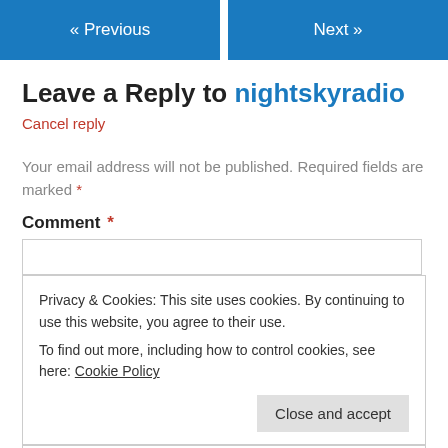« Previous    Next »
Leave a Reply to nightskyradio
Cancel reply
Your email address will not be published. Required fields are marked *
Comment *
Privacy & Cookies: This site uses cookies. By continuing to use this website, you agree to their use.
To find out more, including how to control cookies, see here: Cookie Policy
Close and accept